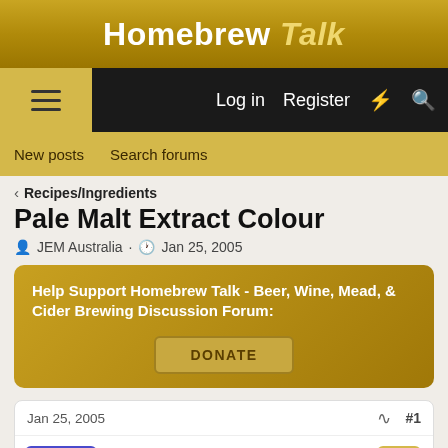Homebrew Talk
Log in  Register
New posts  Search forums
< Recipes/Ingredients
Pale Malt Extract Colour
JEM Australia · Jan 25, 2005
Help Support Homebrew Talk - Beer, Wine, Mead, & Cider Brewing Discussion Forum:
DONATE
Jan 25, 2005  #1
JEM Australia
Well-Known Member